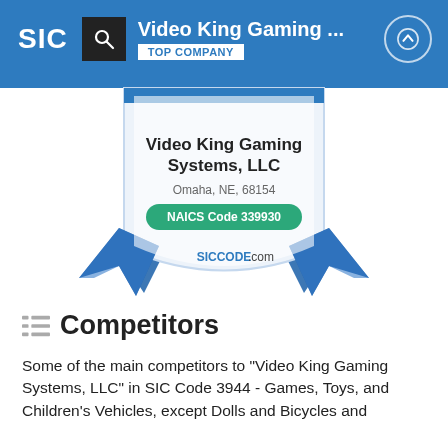SIC | Video King Gaming ... | TOP COMPANY
[Figure (illustration): Award badge/shield with ribbon showing Video King Gaming Systems, LLC company information, Omaha NE 68154, NAICS Code 339930, siccode.com branding]
Competitors
Some of the main competitors to "Video King Gaming Systems, LLC" in SIC Code 3944 - Games, Toys, and Children's Vehicles, except Dolls and Bicycles and